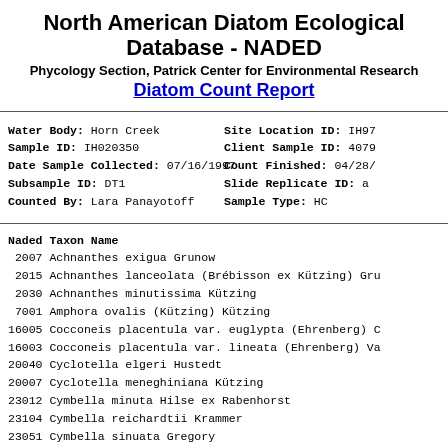North American Diatom Ecological Database - NADED
Phycology Section, Patrick Center for Environmental Research
Diatom Count Report
Water Body: Horn Creek
Sample ID: IH020350
Date Sample Collected: 07/16/1997
Subsample ID: DT1
Counted By: Lara Panayotoff
Site Location ID: IH97
Client Sample ID: 4079
Count Finished: 04/28/
Slide Replicate ID: a
Sample Type: HC
| Naded | Taxon Name |
| --- | --- |
| 2007 | Achnanthes exigua Grunow |
| 2015 | Achnanthes lanceolata (Brébisson ex Kützing) Gru |
| 2030 | Achnanthes minutissima Kützing |
| 7001 | Amphora ovalis (Kützing) Kützing |
| 16005 | Cocconeis placentula var. euglypta (Ehrenberg) C |
| 16003 | Cocconeis placentula var. lineata (Ehrenberg) Va |
| 20040 | Cyclotella elgeri Hustedt |
| 20007 | Cyclotella meneghiniana Kützing |
| 23012 | Cymbella minuta Hilse ex Rabenhorst |
| 23104 | Cymbella reichardtii Krammer |
| 23051 | Cymbella sinuata Gregory |